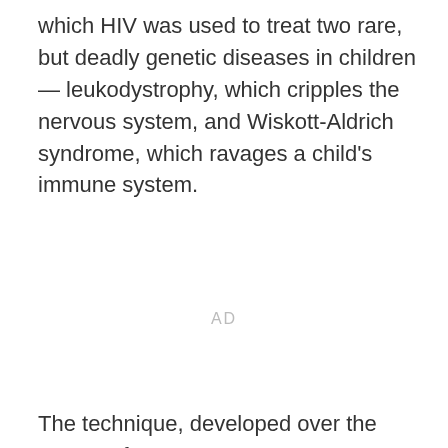which HIV was used to treat two rare, but deadly genetic diseases in children — leukodystrophy, which cripples the nervous system, and Wiskott-Aldrich syndrome, which ravages a child's immune system.
AD
The technique, developed over the course of 15